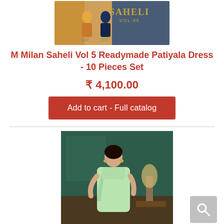[Figure (photo): Product catalog image showing M Milan Saheli Vol 5 Readymade Patiyala Dress collection with two models wearing colorful dress sets, labeled 5009 and 5010, with 'SAHELI VOL-05' text]
M Milan Saheli Vol 5 Readymade Patiyala Dress - 10 Pieces Set
₹ 4,100.00
Add to cart - Full catalog
[Figure (photo): Woman wearing a light green saree in an elegant indoor setting with decorative background, lamps and furniture visible]